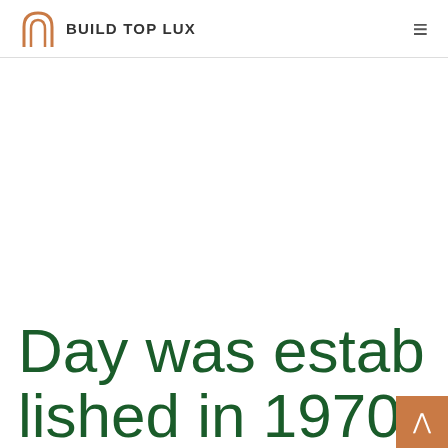BUILD TOP LUX
[Figure (other): Large white/blank hero image area in the center of the page]
Day was established in 1970